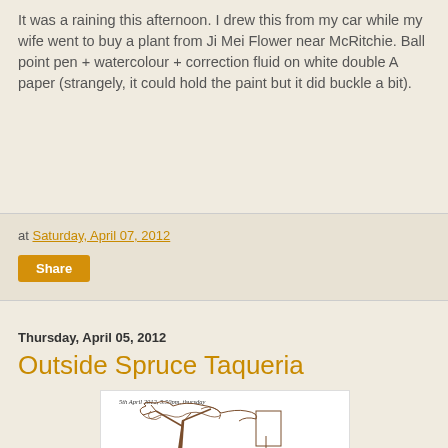It was a raining this afternoon. I drew this from my car while my wife went to buy a plant from Ji Mei Flower near McRitchie. Ball point pen + watercolour + correction fluid on white double A paper (strangely, it could hold the paint but it did buckle a bit).
at Saturday, April 07, 2012
Share
Thursday, April 05, 2012
Outside Spruce Taqueria
[Figure (illustration): A sketch drawing labeled '5th April 2012, 5.50pm, thursday' showing a tree with brown scribbly lines on white paper]